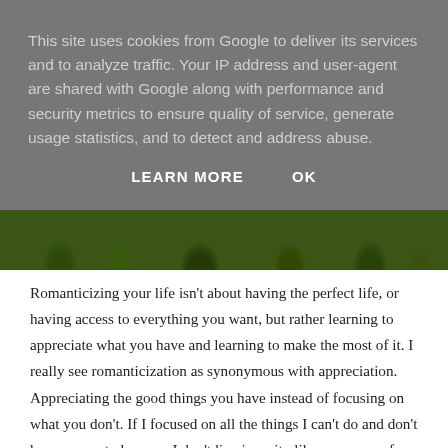This site uses cookies from Google to deliver its services and to analyze traffic. Your IP address and user-agent are shared with Google along with performance and security metrics to ensure quality of service, generate usage statistics, and to detect and address abuse.
LEARN MORE    OK
[Figure (photo): Close-up photograph of green grass]
Romanticizing your life isn't about having the perfect life, or having access to everything you want, but rather learning to appreciate what you have and learning to make the most of it. I really see romanticization as synonymous with appreciation. Appreciating the good things you have instead of focusing on what you don't. If I focused on all the things I can't do and don't have access to because I don't live in a city like my many of my friends I could easily become frustrated with my situation. But as I walk my dog I learn to appreciate what I do have, to